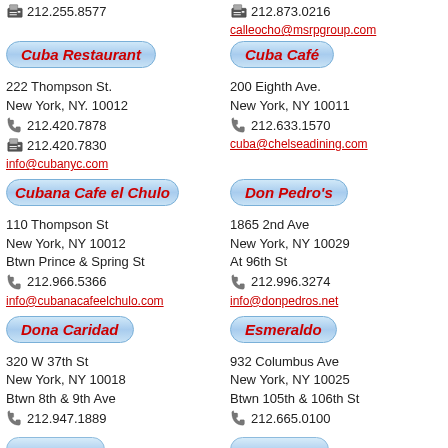212.255.8577
212.873.0216
calleocho@msrpgroup.com
Cuba Restaurant
222 Thompson St.
New York, NY. 10012
212.420.7878
212.420.7830
info@cubanyc.com
Cuba Café
200 Eighth Ave.
New York, NY 10011
212.633.1570
cuba@chelseadining.com
Cubana Cafe el Chulo
110 Thompson St
New York, NY 10012
Btwn Prince & Spring St
212.966.5366
info@cubanacafeelchulo.com
Don Pedro's
1865 2nd Ave
New York, NY 10029
At 96th St
212.996.3274
info@donpedros.net
Dona Caridad
320 W 37th St
New York, NY 10018
Btwn 8th & 9th Ave
212.947.1889
Esmeraldo
932 Columbus Ave
New York, NY 10025
Btwn 105th & 106th St
212.665.0100